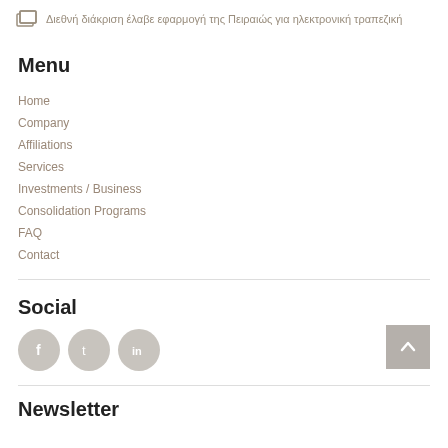Διεθνή διάκριση έλαβε εφαρμογή της Πειραιώς για ηλεκτρονική τραπεζική
Menu
Home
Company
Affiliations
Services
Investments / Business
Consolidation Programs
FAQ
Contact
Social
[Figure (illustration): Three circular social media icons: Facebook (f), Twitter (bird), LinkedIn (in), and a back-to-top arrow button on the right]
Newsletter